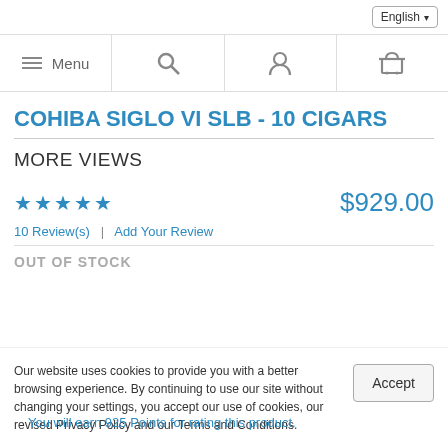English
Menu | Search | Account | Cart
COHIBA SIGLO VI SLB - 10 CIGARS
MORE VIEWS
$929.00
★★★★★ 10 Review(s) | Add Your Review
OUT OF STOCK
Our website uses cookies to provide you with a better browsing experience. By continuing to use our site without changing your settings, you accept our use of cookies, our revised Privacy Policy and our Terms and Conditions.
You will earn 925 Points for rating this product.